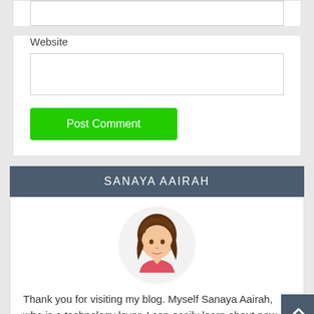[Figure (screenshot): Empty input field at top of form]
Website
[Figure (screenshot): Website text input field]
Post Comment
SANAYA AAIRAH
[Figure (illustration): Avatar illustration of a woman with brown hair wearing a pink top, inside a circular frame]
Thank you for visiting my blog. Myself Sanaya Aairah, who is a technology lover. I can easily learn about new